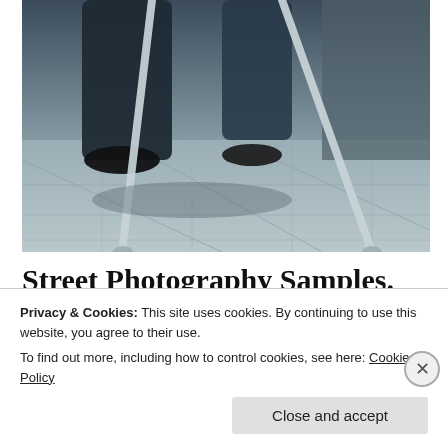[Figure (photo): Black and white / teal-toned street photo showing the lower half of a person using crutches, standing on paved stone ground near a wall. Denim jeans, black shoes, and two metal crutches visible.]
Street Photography Samples. Contemplation
The older generation are central to many a 20th Century photographer, and they should be to us too. They have    More
Privacy & Cookies: This site uses cookies. By continuing to use this website, you agree to their use.
To find out more, including how to control cookies, see here: Cookie Policy
[Close and accept]